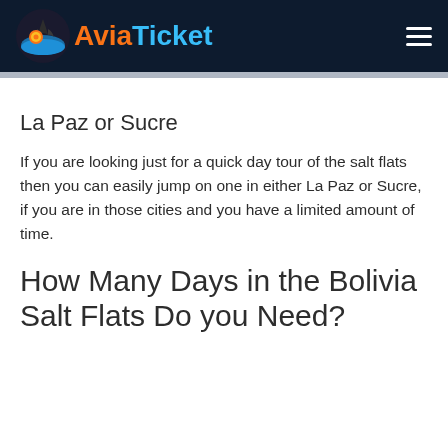AviaTicket
La Paz or Sucre
If you are looking just for a quick day tour of the salt flats then you can easily jump on one in either La Paz or Sucre, if you are in those cities and you have a limited amount of time.
How Many Days in the Bolivia Salt Flats Do you Need?